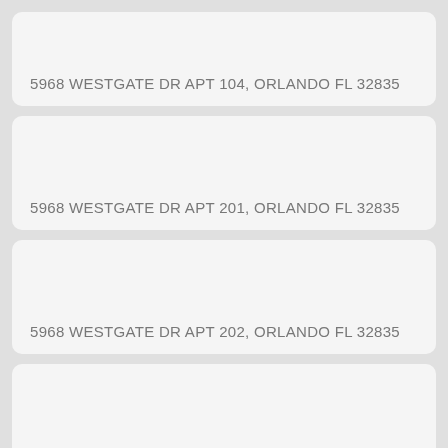5968 WESTGATE DR APT 104, ORLANDO FL 32835
5968 WESTGATE DR APT 201, ORLANDO FL 32835
5968 WESTGATE DR APT 202, ORLANDO FL 32835
5968 WESTGATE DR APT 203, ORLANDO FL 32835